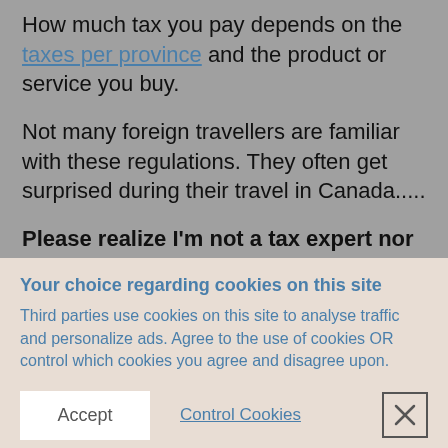How much tax you pay depends on the taxes per province and the product or service you buy.
Not many foreign travellers are familiar with these regulations. They often get surprised during their travel in Canada.....
Please realize I'm not a tax expert nor associated to any.
Your choice regarding cookies on this site
Third parties use cookies on this site to analyse traffic and personalize ads. Agree to the use of cookies OR control which cookies you agree and disagree upon.
Accept
Control Cookies